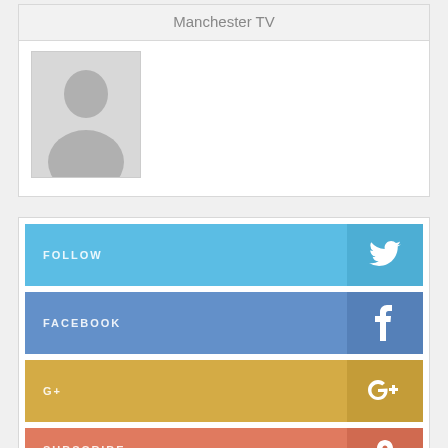Manchester TV
[Figure (illustration): User avatar placeholder image with grey background and silhouette figure]
[Figure (infographic): Social media follow buttons: Twitter (Follow), Facebook, G+, Subscribe]